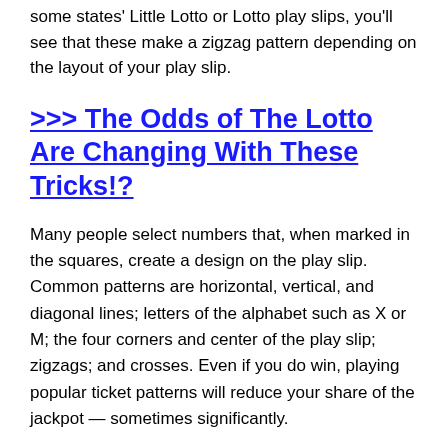some states' Little Lotto or Lotto play slips, you'll see that these make a zigzag pattern depending on the layout of your play slip.
>>> The Odds of The Lotto Are Changing With These Tricks!?
Many people select numbers that, when marked in the squares, create a design on the play slip. Common patterns are horizontal, vertical, and diagonal lines; letters of the alphabet such as X or M; the four corners and center of the play slip; zigzags; and crosses. Even if you do win, playing popular ticket patterns will reduce your share of the jackpot — sometimes significantly.
A f…